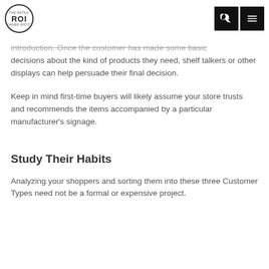ROI
introduction. Once the customer has made some basic decisions about the kind of products they need, shelf talkers or other displays can help persuade their final decision.
Keep in mind first-time buyers will likely assume your store trusts and recommends the items accompanied by a particular manufacturer's signage.
Study Their Habits
Analyzing your shoppers and sorting them into these three Customer Types need not be a formal or expensive project.